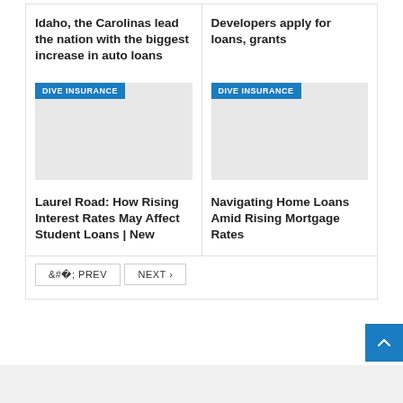Idaho, the Carolinas lead the nation with the biggest increase in auto loans
Developers apply for loans, grants
[Figure (illustration): Placeholder image with DIVE INSURANCE badge]
[Figure (illustration): Placeholder image with DIVE INSURANCE badge]
Laurel Road: How Rising Interest Rates May Affect Student Loans | New
Navigating Home Loans Amid Rising Mortgage Rates
< PREV   NEXT >